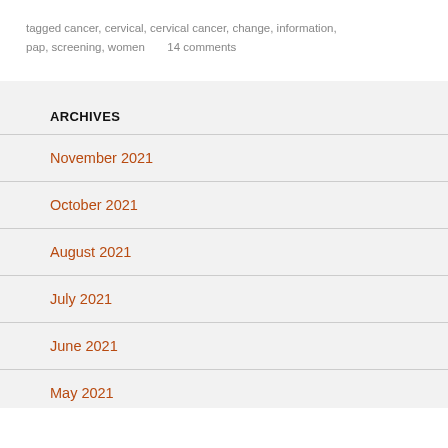tagged cancer, cervical, cervical cancer, change, information, pap, screening, women     14 comments
ARCHIVES
November 2021
October 2021
August 2021
July 2021
June 2021
May 2021